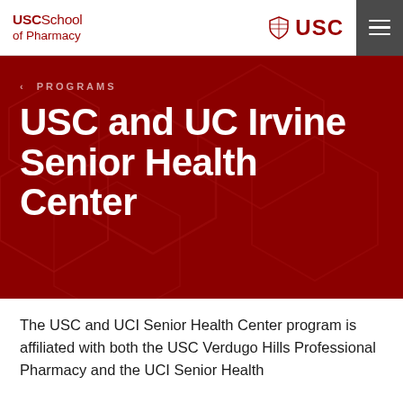USC School of Pharmacy | USC
[Figure (screenshot): USC School of Pharmacy and USC logo header with hamburger menu]
‹ PROGRAMS
USC and UC Irvine Senior Health Center
The USC and UCI Senior Health Center program is affiliated with both the USC Verdugo Hills Professional Pharmacy and the UCI Senior Health